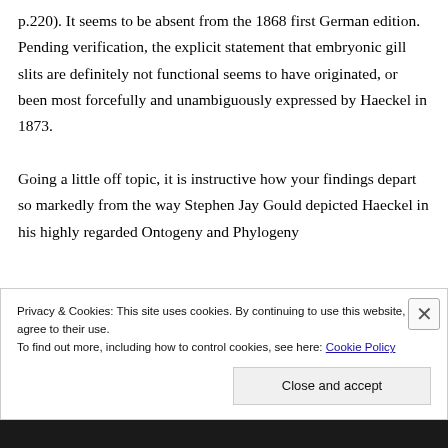p.220). It seems to be absent from the 1868 first German edition. Pending verification, the explicit statement that embryonic gill slits are definitely not functional seems to have originated, or been most forcefully and unambiguously expressed by Haeckel in 1873.
Going a little off topic, it is instructive how your findings depart so markedly from the way Stephen Jay Gould depicted Haeckel in his highly regarded Ontogeny and Phylogeny (1977…
Privacy & Cookies: This site uses cookies. By continuing to use this website, you agree to their use. To find out more, including how to control cookies, see here: Cookie Policy
Close and accept